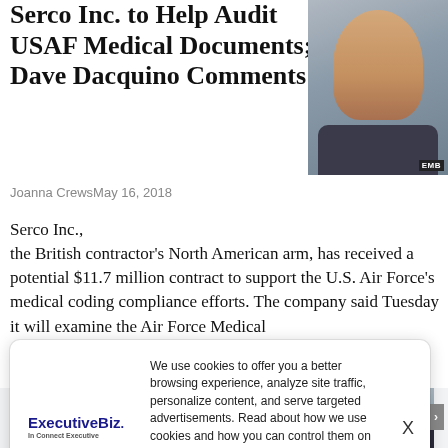Serco Inc. to Help Audit USAF Medical Documents; Dave Dacquino Comments
Joanna CrewsMay 16, 2018
[Figure (photo): Headshot of a man in a dark suit, smiling, with an EM badge watermark in the bottom right corner]
Serco Inc., the British contractor's North American arm, has received a potential $11.7 million contract to support the U.S. Air Force's medical coding compliance efforts. The company said Tuesday it will examine the Air Force Medical
We use cookies to offer you a better browsing experience, analyze site traffic, personalize content, and serve targeted advertisements. Read about how we use cookies and how you can control them on our Privacy Policy. If you continue to use this site, you consent to our use of cookies.
Dave Dacquino, Serco Inc. to Continue Navy